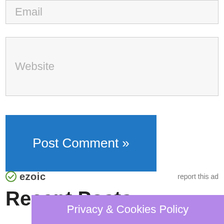Email
Website
Post Comment »
[Figure (logo): Ezoic logo with circular checkmark icon and bold text 'ezoic']
report this ad
Recent Posts
Privacy & Cookies Policy